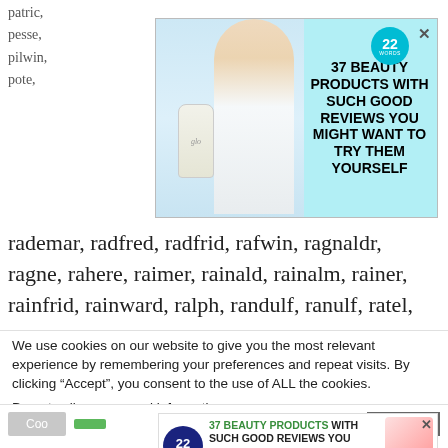patric, pesse, pilwin, pote,
[Figure (screenshot): Advertisement banner: 22 Words - 37 Beauty Products With Such Good Reviews You Might Want To Try Them Yourself, with woman and glo beauty bottle]
rademar, radfred, radfrid, rafwin, ragnaldr, ragne, rahere, raimer, rainald, rainalm, rainer, rainfrid, rainward, ralph, randulf, ranulf, ratel, rathi, ravelin, raven, ravengar, ravenkel, ravenot, ravensward, raymond, raynouard, redger, redhe, redulph, regifer, reginald, reginwal, regnvald,
We use cookies on our website to give you the most relevant experience by remembering your preferences and repeat visits. By clicking “Accept”, you consent to the use of ALL the cookies.
Do not sell my personal information.
[Figure (screenshot): Cookie consent buttons row with settings, accept buttons and CLOSE button]
[Figure (screenshot): Bottom advertisement banner: 22 Words - 37 Beauty Products With Such Good Reviews You Might Want To Try Them Yourself]